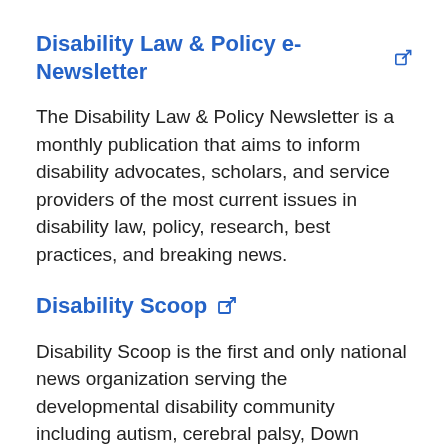Disability Law & Policy e-Newsletter ↗
The Disability Law & Policy Newsletter is a monthly publication that aims to inform disability advocates, scholars, and service providers of the most current issues in disability law, policy, research, best practices, and breaking news.
Disability Scoop ↗
Disability Scoop is the first and only national news organization serving the developmental disability community including autism, cerebral palsy, Down syndrome and intellectual disability, among others. Disability Scoop…